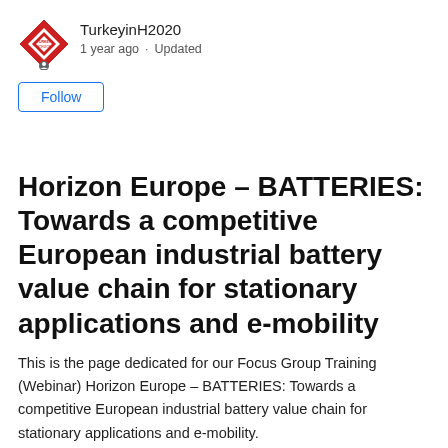[Figure (logo): TurkeyinH2020 logo - red and white diamond/arrow shape with text TURKEY HORIZON inside]
TurkeyinH2020
1 year ago · Updated
Follow
Horizon Europe – BATTERIES: Towards a competitive European industrial battery value chain for stationary applications and e-mobility
This is the page dedicated for our Focus Group Training (Webinar) Horizon Europe – BATTERIES: Towards a competitive European industrial battery value chain for stationary applications and e-mobility.